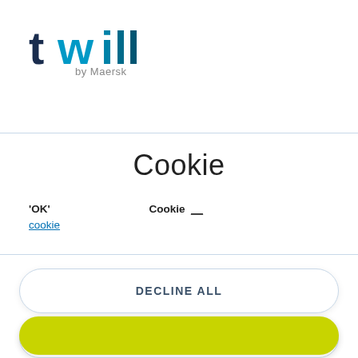[Figure (logo): Twill by Maersk logo — 'twill' in dark navy and teal stylized font, 'by Maersk' in grey below]
Cookie
'OK'   Cookie __
cookie
DECLINE ALL